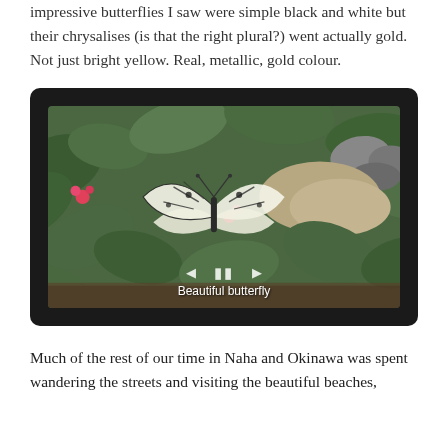impressive butterflies I saw were simple black and white but their chrysalises (is that the right plural?) went actually gold. Not just bright yellow. Real, metallic, gold colour.
[Figure (photo): A photo of a black and white butterfly resting on pink flowers among green leaves, displayed in a dark-framed tablet/slideshow UI with media controls and caption 'Beautiful butterfly']
Much of the rest of our time in Naha and Okinawa was spent wandering the streets and visiting the beautiful beaches,